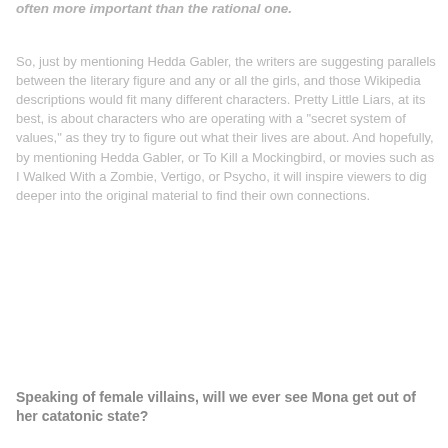often more important than the rational one.
So, just by mentioning Hedda Gabler, the writers are suggesting parallels between the literary figure and any or all the girls, and those Wikipedia descriptions would fit many different characters. Pretty Little Liars, at its best, is about characters who are operating with a "secret system of values," as they try to figure out what their lives are about. And hopefully, by mentioning Hedda Gabler, or To Kill a Mockingbird, or movies such as I Walked With a Zombie, Vertigo, or Psycho, it will inspire viewers to dig deeper into the original material to find their own connections.
Speaking of female villains, will we ever see Mona get out of her catatonic state?